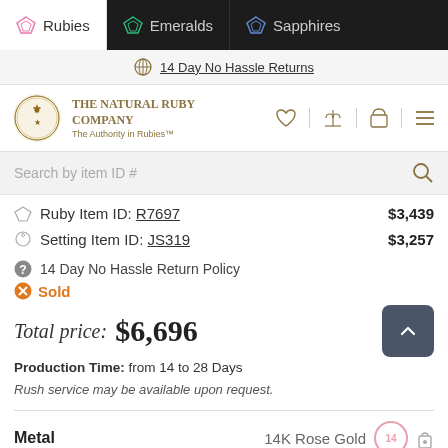Rubies | Emeralds | Sapphires
14 Day No Hassle Returns
[Figure (logo): The Natural Ruby Company crest logo with text: THE NATURAL RUBY COMPANY, The Authority in Rubies™]
Search by item ID #
Ruby Item ID: R7697  $3,439
Setting Item ID: JS319  $3,257
14 Day No Hassle Return Policy
Sold
Total price: $6,696
Production Time: from 14 to 28 Days
Rush service may be available upon request.
Metal  14K Rose Gold